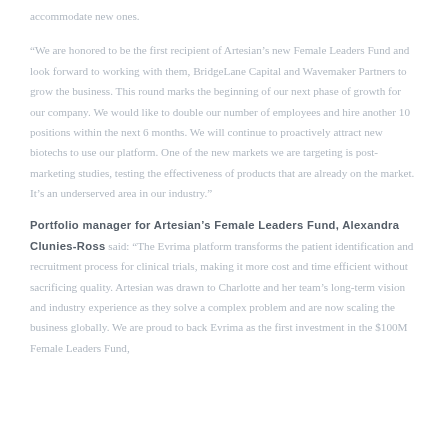accommodate new ones.
“We are honored to be the first recipient of Artesian’s new Female Leaders Fund and look forward to working with them, BridgeLane Capital and Wavemaker Partners to grow the business. This round marks the beginning of our next phase of growth for our company. We would like to double our number of employees and hire another 10 positions within the next 6 months. We will continue to proactively attract new biotechs to use our platform. One of the new markets we are targeting is post-marketing studies, testing the effectiveness of products that are already on the market. It’s an underserved area in our industry.”
Portfolio manager for Artesian’s Female Leaders Fund, Alexandra Clunies-Ross said: “The Evrima platform transforms the patient identification and recruitment process for clinical trials, making it more cost and time efficient without sacrificing quality. Artesian was drawn to Charlotte and her team’s long-term vision and industry experience as they solve a complex problem and are now scaling the business globally. We are proud to back Evrima as the first investment in the $100M Female Leaders Fund,